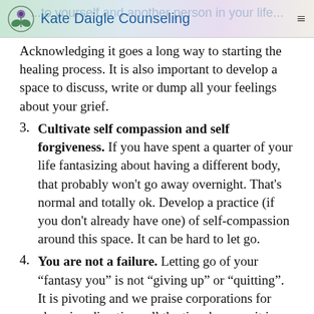Kate Daigle Counseling
Acknowledging it goes a long way to starting the healing process. It is also important to develop a space to discuss, write or dump all your feelings about your grief.
3. Cultivate self compassion and self forgiveness. If you have spent a quarter of your life fantasizing about having a different body, that probably won't go away overnight. That's normal and totally ok. Develop a practice (if you don't already have one) of self-compassion around this space. It can be hard to let go.
4. You are not a failure. Letting go of your “fantasy you” is not “giving up” or “quitting”. It is pivoting and we praise corporations for changing directions all the time because it is a smart thing to do. You are moving towards goals that truly bring you more wellbeing.
It can be hard to let go of something so interwoven into the fabric of your life. For most people it is part of the rhythm of